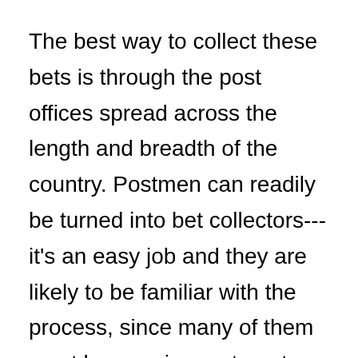The best way to collect these bets is through the post offices spread across the length and breadth of the country. Postmen can readily be turned into bet collectors---it's an easy job and they are likely to be familiar with the process, since many of them must be queuing up to get lottery tickets every week to supplement their meagre income.
Thanks to the marvels of technology, the bets placed can instantly be collated at a central office. On Budget Day, a certain percentage, say 25 percent, will be deducted from the corpus and the balance distributed to the